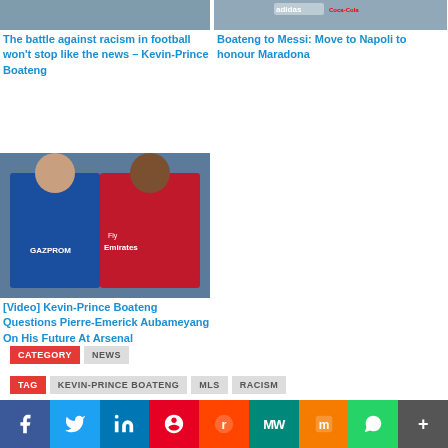[Figure (photo): Sports photo top left - football players]
The battle against racism in football won't stop like the news – Kevin-Prince Boateng
[Figure (photo): Sports photo top right - football players with Adidas and Coca-Cola branding]
Boateng to Messi: Move to Napoli to honour Maradona
[Figure (photo): Kevin-Prince Boateng and Pierre-Emerick Aubameyang composite photo]
[Video] Kevin-Prince Boateng Questions Pierre-Emerick Aubameyang On His Future At Arsenal
CATEGORY  NEWS
TAG  KEVIN-PRINCE BOATENG  MLS  RACISM